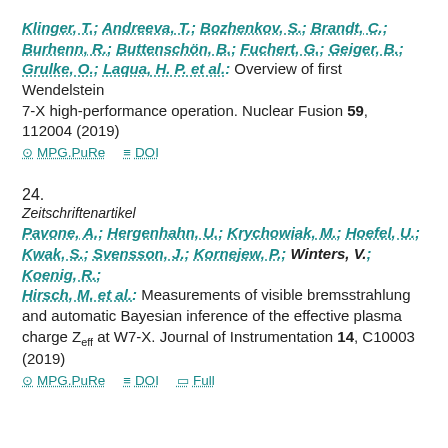Klinger, T.; Andreeva, T.; Bozhenkov, S.; Brandt, C.; Burhenn, R.; Buttenschön, B.; Fuchert, G.; Geiger, B.; Grulke, O.; Laqua, H. P. et al.: Overview of first Wendelstein 7-X high-performance operation. Nuclear Fusion 59, 112004 (2019)
MPG.PuRe  DOI
24.
Zeitschriftenartikel
Pavone, A.; Hergenhahn, U.; Krychowiak, M.; Hoefel, U.; Kwak, S.; Svensson, J.; Kornejew, P.; Winters, V.; Koenig, R.; Hirsch, M. et al.: Measurements of visible bremsstrahlung and automatic Bayesian inference of the effective plasma charge Zeff at W7-X. Journal of Instrumentation 14, C10003 (2019)
MPG.PuRe  DOI  Full